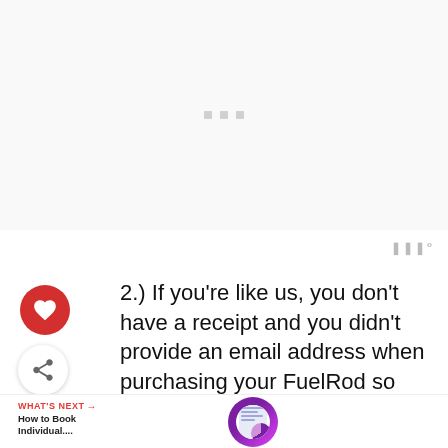[Figure (other): Loading placeholder area with three small grey square dots centered on a light grey background]
2.) If you're like us, you don't have a receipt and you didn't provide an email address when purchasing your FuelRod so you'll want to answer “no” to the first and “yes” to the second.
WHAT'S NEXT → How to Book Individual....